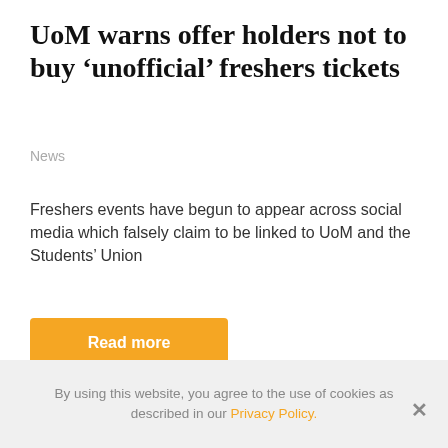UoM warns offer holders not to buy 'unofficial' freshers tickets
News
Freshers events have begun to appear across social media which falsely claim to be linked to UoM and the Students' Union
Read more
[Figure (photo): Partial image strip at the bottom of the article, showing a cropped photograph with blue and dark tones.]
By using this website, you agree to the use of cookies as described in our Privacy Policy.